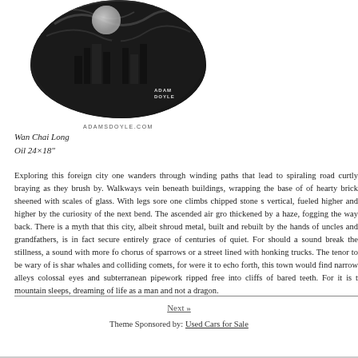[Figure (illustration): Circular black and white illustration of a cityscape with buildings and swirling sky, signed 'ADAM DOYLE']
ADAMSDOYLE.COM
Wan Chai Long
Oil 24×18"
Exploring this foreign city one wanders through winding paths that lead to spiraling road curtly braying as they brush by. Walkways vein beneath buildings, wrapping the base of of hearty brick sheened with scales of glass. With legs sore one climbs chipped stone s vertical, fueled higher and higher by the curiosity of the next bend. The ascended air gro thickened by a haze, fogging the way back. There is a myth that this city, albeit shroud metal, built and rebuilt by the hands of uncles and grandfathers, is in fact secure entirely grace of centuries of quiet. For should a sound break the stillness, a sound with more fo chorus of sparrows or a street lined with honking trucks. The tenor to be wary of is shar whales and colliding comets, for were it to echo forth, this town would find narrow alleys colossal eyes and subterranean pipework ripped free into cliffs of bared teeth. For it is t mountain sleeps, dreaming of life as a man and not a dragon.
Next »
Theme Sponsored by: Used Cars for Sale